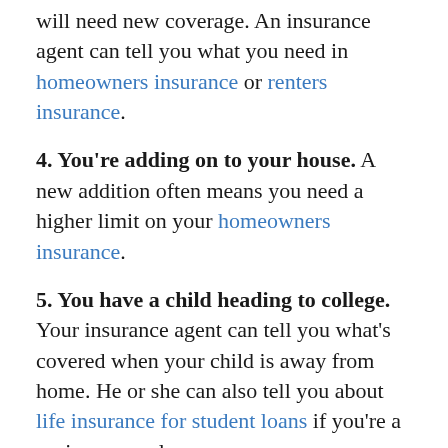will need new coverage. An insurance agent can tell you what you need in homeowners insurance or renters insurance.
4. You're adding on to your house. A new addition often means you need a higher limit on your homeowners insurance.
5. You have a child heading to college. Your insurance agent can tell you what's covered when your child is away from home. He or she can also tell you about life insurance for student loans if you're a cosigner on a loan.
See also: An Insurance (and Safety) Checklist for Your College Student